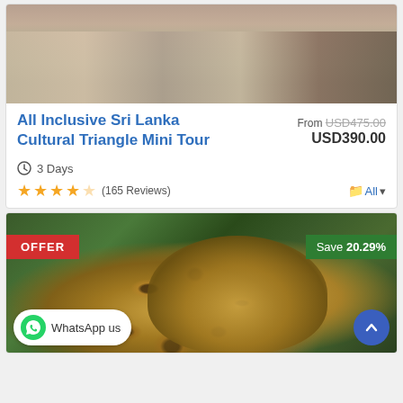[Figure (photo): Top portion of tour listing card showing people standing near an elephant by water, cropped at top]
All Inclusive Sri Lanka Cultural Triangle Mini Tour
From USD475.00 USD390.00
3 Days
★★★★☆ (165 Reviews)
All ▾
[Figure (photo): Leopard photo with OFFER badge on left and Save 20.29% badge on right]
OFFER
Save 20.29%
WhatsApp us